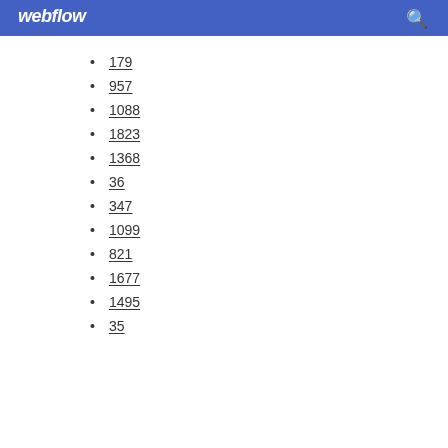webflow
179
957
1088
1823
1368
36
347
1099
821
1677
1495
35